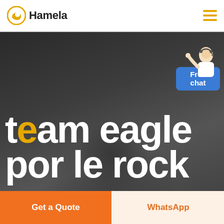Hamela
[Figure (screenshot): Hero banner with dark background showing blurred person figure. Large white bold text reads 'team eagle por le rock'. Orange dot on letter 't'. Blue 'Free chat' badge with agent figure in top right corner.]
team eagle por le rock
Get a Quote
WhatsApp